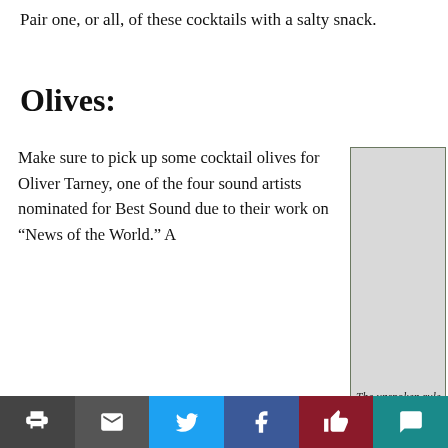Pair one, or all, of these cocktails with a salty snack.
Olives:
Make sure to pick up some cocktail olives for Oliver Tarney, one of the four sound artists nominated for Best Sound due to their work on “News of the World.” A
[Figure (photo): A glass cup filled with green pitted cocktail olives on a light background]
The unspoken rule of cocktail hour
Social sharing bar with print, email, Twitter, Facebook, like, and comment buttons